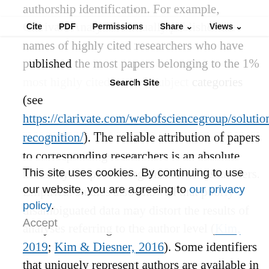authorship identification. For example, Clarivate Analytics annually publishes the names of highly cited researchers who have published the most papers belonging to the 1% most highly cited in their subject categories (see https://clarivate.com/webofsciencegroup/solutions/researcher-recognition/). The reliable attribution of papers to corresponding researchers is an absolute necessity for publishing this list of researchers. Empirical studies also showed that poorly disambiguated data may distort the results of analyses referring to the author level (Kim, 2019; Kim & Diesner, 2016). Some identifiers that uniquely represent authors are available in
Cite   PDF   Permissions   Share   Views
Search Site
This site uses cookies. By continuing to use our website, you are agreeing to our privacy policy.
Accept